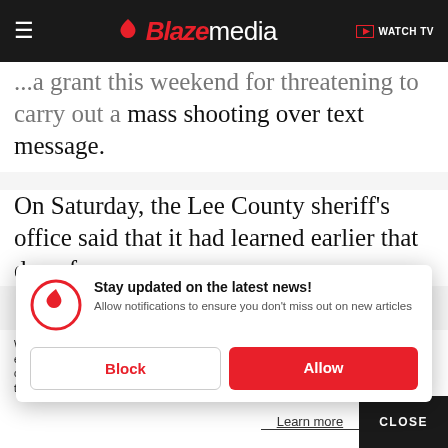Blaze media — WATCH TV
...a grant this weekend for threatening to carry out a mass shooting over text message.
On Saturday, the Lee County sheriff's office said that it had learned earlier that day of a
[Figure (screenshot): Browser notification popup with Blaze Media logo icon, bold heading 'Stay updated on the latest news!', subtext 'Allow notifications to ensure you don't miss out on new articles', and two buttons: 'Block' (white with red text) and 'Allow' (red with white text)]
We use cookies to better understand website visitors, for advertising, and to offer you a better experience. For more information about our use of cookies, our collection, use, and disclosure of personal information generally, and any rights you may have to access, delete, or opt out of the sale of your personal information, please view our Privacy Policy.
Learn more   CLOSE